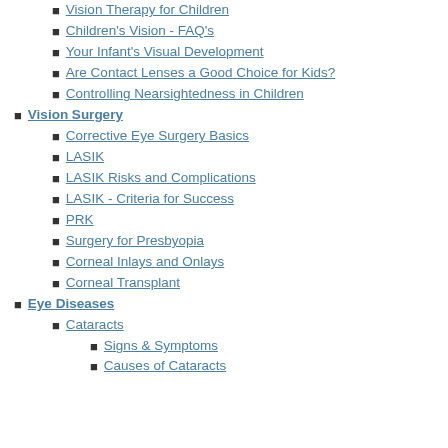Vision Therapy for Children
Children's Vision - FAQ's
Your Infant's Visual Development
Are Contact Lenses a Good Choice for Kids?
Controlling Nearsightedness in Children
Vision Surgery
Corrective Eye Surgery Basics
LASIK
LASIK Risks and Complications
LASIK - Criteria for Success
PRK
Surgery for Presbyopia
Corneal Inlays and Onlays
Corneal Transplant
Eye Diseases
Cataracts
Signs & Symptoms
Causes of Cataracts